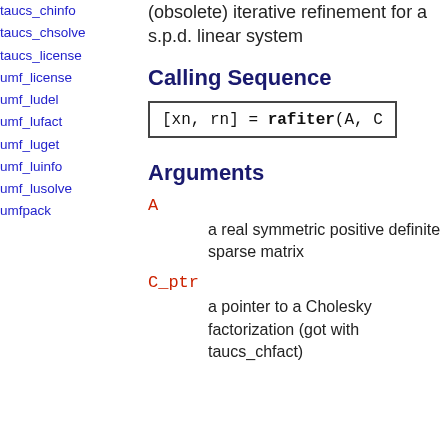taucs_chinfo
taucs_chsolve
taucs_license
umf_license
umf_ludel
umf_lufact
umf_luget
umf_luinfo
umf_lusolve
umfpack
(obsolete) iterative refinement for a s.p.d. linear system
Calling Sequence
Arguments
A
a real symmetric positive definite sparse matrix
C_ptr
a pointer to a Cholesky factorization (got with taucs_chfact)